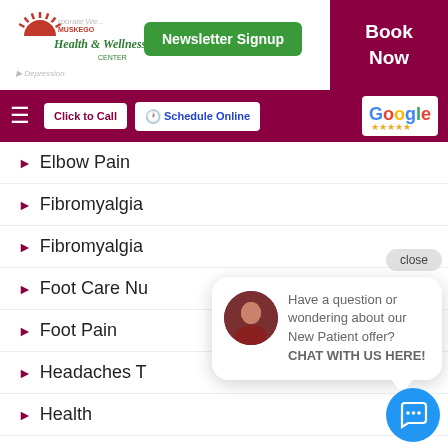[Figure (logo): Muskego Health & Wellness Center logo with sun/rays icon and green text]
Newsletter Signup
Book Now
Click to Call
Schedule Online
[Figure (logo): Google reviews logo with 5 yellow stars]
Elbow Pain
Fibromyalgia
Fibromyalgia
Foot Care Nu
Foot Pain
Headaches T
Health
Hypnotherapy
In-home services
close
Have a question or wondering about our New Patient offer? CHAT WITH US HERE!